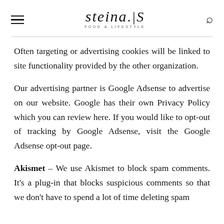steina.IS FOOD & LIFESTYLE
Often targeting or advertising cookies will be linked to site functionality provided by the other organization.
Our advertising partner is Google Adsense to advertise on our website. Google has their own Privacy Policy which you can review here. If you would like to opt-out of tracking by Google Adsense, visit the Google Adsense opt-out page.
Akismet – We use Akismet to block spam comments. It's a plug-in that blocks suspicious comments so that we don't have to spend a lot of time deleting spam